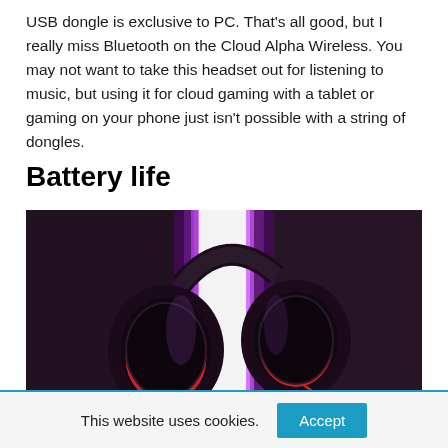USB dongle is exclusive to PC. That's all good, but I really miss Bluetooth on the Cloud Alpha Wireless. You may not want to take this headset out for listening to music, but using it for cloud gaming with a tablet or gaming on your phone just isn't possible with a string of dongles.
Battery life
[Figure (photo): A gaming headset photographed against a dark purple background with a bright vertical white/purple light beam splitting the image. The headset features black ear cups with red accents and appears to be a HyperX Cloud Alpha Wireless.]
This website uses cookies.